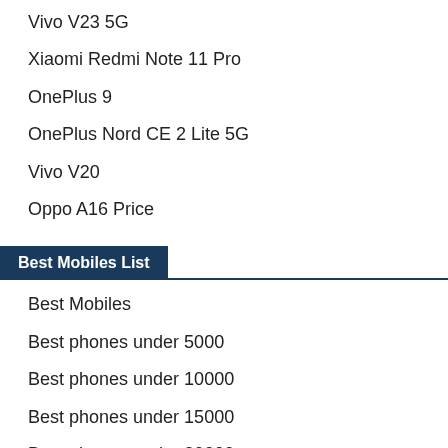Vivo V23 5G
Xiaomi Redmi Note 11 Pro
OnePlus 9
OnePlus Nord CE 2 Lite 5G
Vivo V20
Oppo A16 Price
Best Mobiles List
Best Mobiles
Best phones under 5000
Best phones under 10000
Best phones under 15000
Best phones under 20000
Best phones under 25000